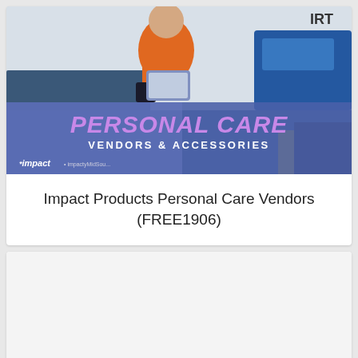[Figure (photo): Product catalog cover image showing a person in an orange shirt working, with a blue gradient banner overlay reading 'PERSONAL CARE VENDORS & ACCESSORIES' and an Impact brand logo at the bottom left]
Impact Products Personal Care Vendors (FREE1906)
[Figure (photo): Second product card image, mostly blank/white placeholder area]